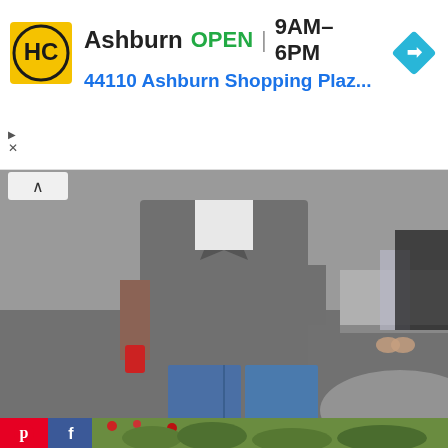[Figure (screenshot): Advertisement banner for HC store in Ashburn showing store logo, OPEN status, hours 9AM-6PM, and address 44110 Ashburn Shopping Plaz..., with navigation arrow icon]
[Figure (photo): Street style photo of a person wearing blue cuffed jeans, a grey coat, white shirt, and black sneakers, standing on a wet street]
[Figure (screenshot): Bottom strip showing Pinterest and Facebook social sharing buttons with a partial image preview of green foliage]